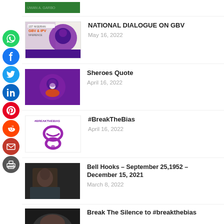[Figure (illustration): Social sharing sidebar icons: WhatsApp, Facebook, Twitter, LinkedIn, Pinterest, Reddit, Email, Print]
[Figure (photo): Partial thumbnail at top - cropped image of person with green background and text]
[Figure (illustration): Thumbnail for National Dialogue on GBV - conference poster with purple brain graphic]
NATIONAL DIALOGUE ON GBV
May 16, 2022
[Figure (illustration): Thumbnail for Sheroes Quote - purple background with Sheroes logo]
Sheroes Quote
April 16, 2022
[Figure (illustration): Thumbnail for #BreakTheBias - white background with purple ribbon and #BREAKTHEBIAS text]
#BreakTheBias
April 16, 2022
[Figure (photo): Thumbnail for Bell Hooks article - photo of Bell Hooks]
Bell Hooks – September 25,1952 – December 15, 2021
March 8, 2022
[Figure (photo): Partial thumbnail for Break The Silence article]
Break The Silence to #breakthebias